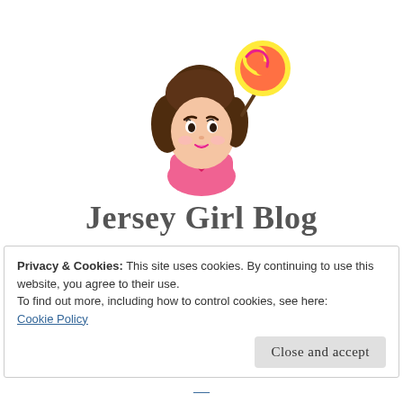[Figure (illustration): Cartoon illustration of a girl with dark brown hair holding a colorful lollipop, wearing a pink top with a heart cutout]
Jersey Girl Blog
Just a Jersey Girl Living in a Great Big World!
Privacy & Cookies: This site uses cookies. By continuing to use this website, you agree to their use.
To find out more, including how to control cookies, see here:
Cookie Policy
Close and accept